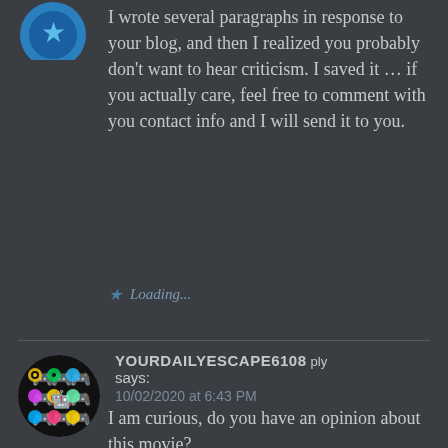[Figure (illustration): Partial circular avatar with blue gradient/logo visible at top left]
I wrote several paragraphs in response to your blog, and then I realized you probably don't want to hear criticism. I saved it … if you actually care, feel free to comment with you contact info and I will send it to you.
Loading...
[Figure (illustration): Circular avatar with black background showing colorful emoji/game controller icons in yellow, green, cyan, magenta, and gold]
YOURDAILYESCAPE6108 Reply says: 10/02/2020 at 6:43 PM
I am curious, do you have an opinion about this movie?